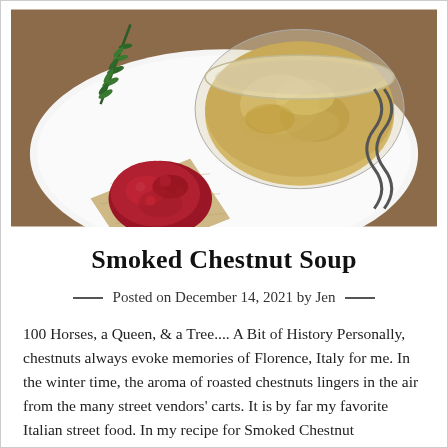[Figure (photo): Food photo showing a white plate with a cracker topped with red cranberry/jam sauce, a glass bowl of yellow-golden chestnut soup/puree, a sprig of rosemary, and a wire utensil in the background.]
Smoked Chestnut Soup
Posted on December 14, 2021 by Jen
100 Horses, a Queen, & a Tree.... A Bit of History Personally, chestnuts always evoke memories of Florence, Italy for me. In the winter time, the aroma of roasted chestnuts lingers in the air from the many street vendors' carts. It is by far my favorite Italian street food. In my recipe for Smoked Chestnut